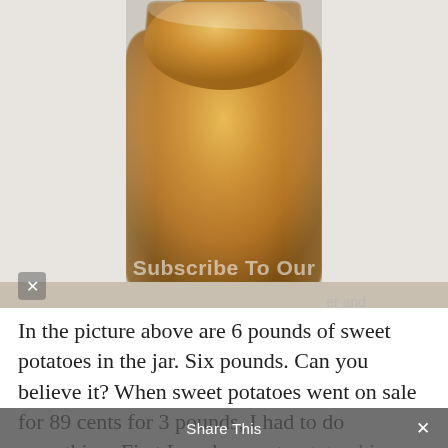[Figure (photo): A glass jar filled with orange/yellow sweet potato powder or flour, approximately 6 pounds worth, sitting on a light surface. The jar has a rounded shape and is filled nearly to the top with the powdered sweet potato material.]
In the picture above are 6 pounds of sweet potatoes in the jar. Six pounds. Can you believe it? When sweet potatoes went on sale for 89 cents for 3 pounds, I had to do something. First I made sweet potato chips, but I wanted to store